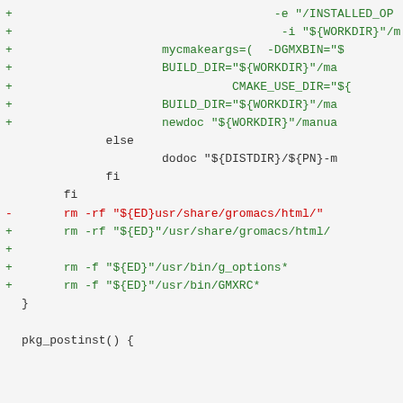Code diff showing shell script modifications including cmake args, build directory settings, rm commands for gromacs html, g_options, GMXRC, and pkg_postinst function definition.